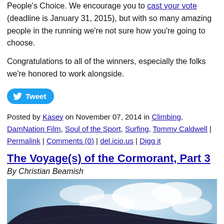People's Choice. We encourage you to cast your vote (deadline is January 31, 2015), but with so many amazing people in the running we're not sure how you're going to choose.
Congratulations to all of the winners, especially the folks we're honored to work alongside.
[Figure (other): Tweet button with Twitter bird icon]
Posted by Kasey on November 07, 2014 in Climbing, DamNation Film, Soul of the Sport, Surfing, Tommy Caldwell | Permalink | Comments (0) | del.icio.us | Digg it
The Voyage(s) of the Cormorant, Part 3
By Christian Beamish
[Figure (photo): Dark object in foreground (appears to be a boat or surfboard hull) against a blurred blue and white sky background]